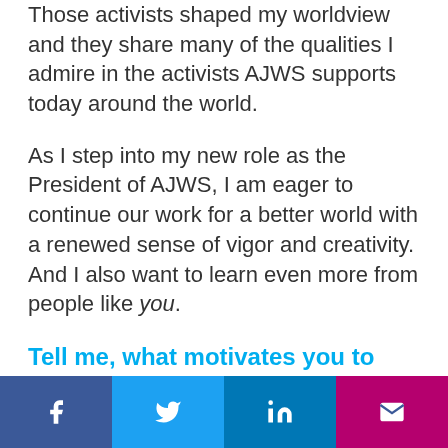Those activists shaped my worldview and they share many of the qualities I admire in the activists AJWS supports today around the world.
As I step into my new role as the President of AJWS, I am eager to continue our work for a better world with a renewed sense of vigor and creativity. And I also want to learn even more from people like you.
Tell me, what motivates you to work for justice with AJWS?
I feel deeply grateful for the diversity and wisdom in the AJWS community. As I begin my presidency, I look forward to deepening my...
[Figure (infographic): Social sharing bar with four buttons: Facebook (blue), Twitter (light blue), LinkedIn (dark blue), Email (magenta/pink)]